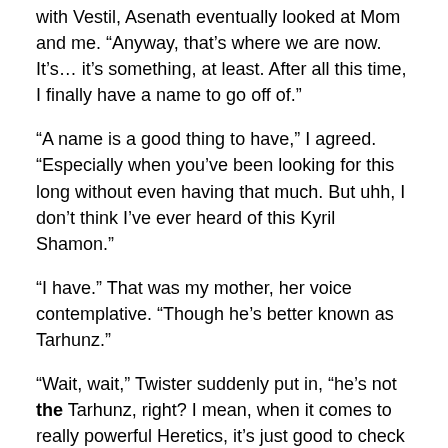with Vestil, Asenath eventually looked at Mom and me. “Anyway, that’s where we are now. It’s… it’s something, at least. After all this time, I finally have a name to go off of.”
“A name is a good thing to have,” I agreed. “Especially when you’ve been looking for this long without even having that much. But uhh, I don’t think I’ve ever heard of this Kyril Shamon.”
“I have.” That was my mother, her voice contemplative. “Though he’s better known as Tarhunz.”
“Wait, wait,” Twister suddenly put in, “he’s not the Tarhunz, right? I mean, when it comes to really powerful Heretics, it’s just good to check now and–you’re nodding why are you nodding?”
Offering the girl an apologetic grimace of sorts, Mom